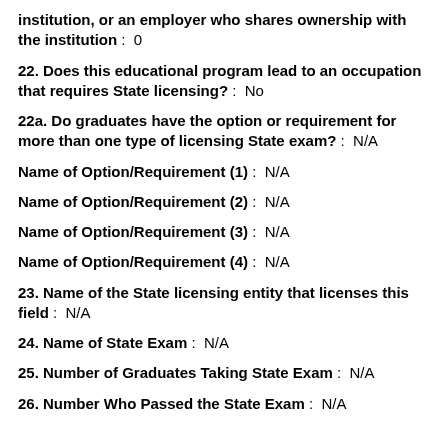institution, or an employer who shares ownership with the institution :  0
22. Does this educational program lead to an occupation that requires State licensing? :  No
22a. Do graduates have the option or requirement for more than one type of licensing State exam? :  N/A
Name of Option/Requirement (1) :  N/A
Name of Option/Requirement (2) :  N/A
Name of Option/Requirement (3) :  N/A
Name of Option/Requirement (4) :  N/A
23. Name of the State licensing entity that licenses this field :  N/A
24. Name of State Exam :  N/A
25. Number of Graduates Taking State Exam :  N/A
26. Number Who Passed the State Exam :  N/A